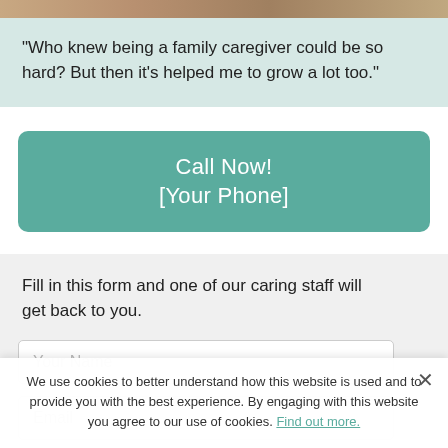[Figure (photo): Top strip of a photo showing people, partially cropped]
"Who knew being a family caregiver could be so hard? But then it's helped me to grow a lot too."
Call Now!
[Your Phone]
Fill in this form and one of our caring staff will get back to you.
Your Name
Email
We use cookies to better understand how this website is used and to provide you with the best experience. By engaging with this website you agree to our use of cookies. Find out more.